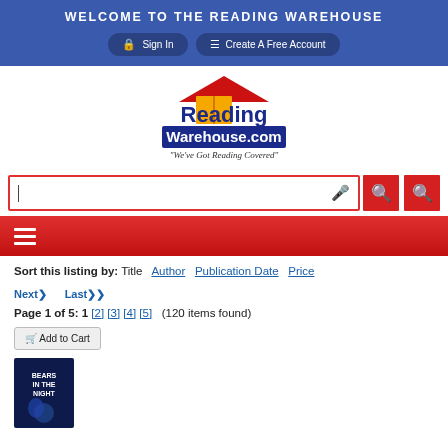WELCOME TO THE READING WAREHOUSE
Sign In   Create A Free Account
[Figure (logo): The Reading Warehouse logo with red roof, open book, and text 'ReadingWarehouse.com - We've Got Reading Covered']
[Figure (screenshot): Search bar with microphone icon, red search button, and secondary red search button]
[Figure (infographic): Red navigation bar with hamburger menu icon]
Sort this listing by: Title  Author  Publication Date  Price
Next>  Last>>
Page 1 of 5: 1 [2] [3] [4] [5]  (120 items found)
Add to Cart
[Figure (photo): Book cover: Bears in the Night]